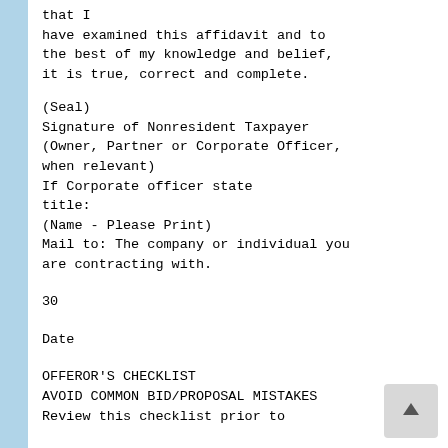that I have examined this affidavit and to the best of my knowledge and belief, it is true, correct and complete.
(Seal)
Signature of Nonresident Taxpayer (Owner, Partner or Corporate Officer, when relevant)
If Corporate officer state title:
(Name - Please Print)
Mail to: The company or individual you are contracting with.
30
Date
OFFEROR'S CHECKLIST
AVOID COMMON BID/PROPOSAL MISTAKES
Review this checklist prior to